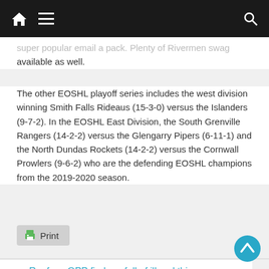Navigation bar with home, menu, and search icons
super popular email a pack. Plenty of Rivermen swag available as well.
The other EOSHL playoff series includes the west division winning Smith Falls Rideaus (15-3-0) versus the Islanders (9-7-2). In the EOSHL East Division, the South Grenville Rangers (14-2-2) versus the Glengarry Pipers (6-11-1) and the North Dundas Rockets (14-2-2) versus the Cornwall Prowlers (9-6-2) who are the defending EOSHL champions from the 2019-2020 season.
[Figure (other): Print button with printer icon]
← Renfrew OPP find car full of illegal things on Hwy. 17 in round-up